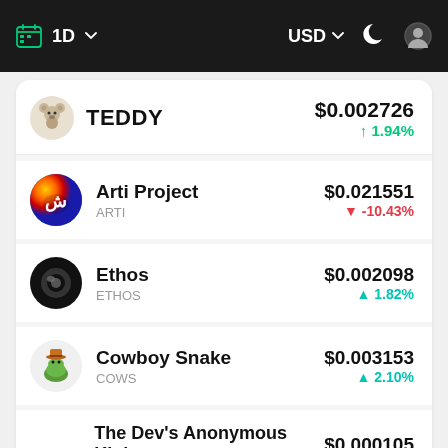1D  USD
TEDDY  $0.002726  ↑1.94%
Arti Project  ARTI  $0.021551  ↓-10.43%
Ethos  ETHOS  $0.002098  ↑1.82%
Cowboy Snake  COWS  $0.003153  ↑2.10%
The Dev's Anonymous Klub  TDAK  $0.000105  ↑0.15%